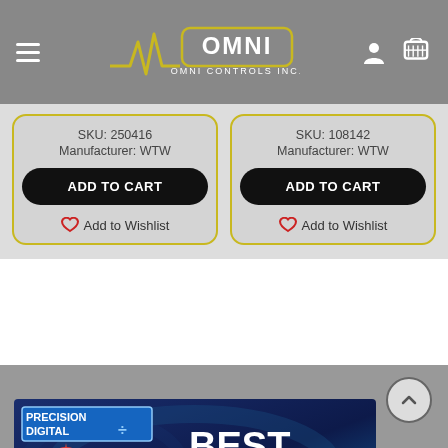[Figure (logo): Omni Controls Inc. logo with heartbeat line graphic and yellow/white text on gray header bar with hamburger menu, user icon, and cart icon]
SKU: 250416
Manufacturer: WTW
ADD TO CART
Add to Wishlist
SKU: 108142
Manufacturer: WTW
ADD TO CART
Add to Wishlist
[Figure (infographic): Precision Digital advertisement banner with blue background showing 'BEST QUALITY' text, 'Loop-Powered Process Meter', Precision Digital logo, and Precision Offers starburst]